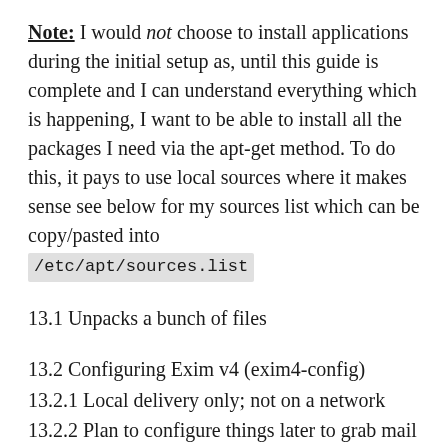Note: I would not choose to install applications during the initial setup as, until this guide is complete and I can understand everything which is happening, I want to be able to install all the packages I need via the apt-get method. To do this, it pays to use local sources where it makes sense see below for my sources list which can be copy/pasted into /etc/apt/sources.list
13.1 Unpacks a bunch of files
13.2 Configuring Exim v4 (exim4-config)
13.2.1 Local delivery only; not on a network
13.2.2 Plan to configure things later to grab mail from various POP sources and deliver